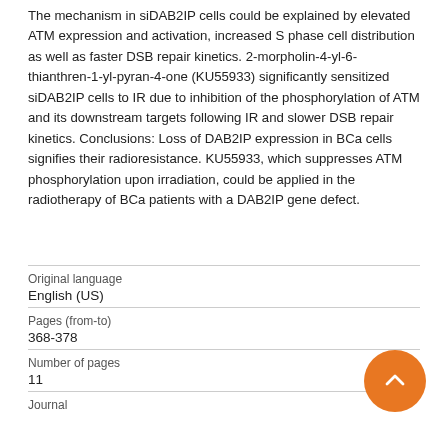The mechanism in siDAB2IP cells could be explained by elevated ATM expression and activation, increased S phase cell distribution as well as faster DSB repair kinetics. 2-morpholin-4-yl-6-thianthren-1-yl-pyran-4-one (KU55933) significantly sensitized siDAB2IP cells to IR due to inhibition of the phosphorylation of ATM and its downstream targets following IR and slower DSB repair kinetics. Conclusions: Loss of DAB2IP expression in BCa cells signifies their radioresistance. KU55933, which suppresses ATM phosphorylation upon irradiation, could be applied in the radiotherapy of BCa patients with a DAB2IP gene defect.
| Original language | English (US) |
| Pages (from-to) | 368-378 |
| Number of pages | 11 |
| Journal |  |